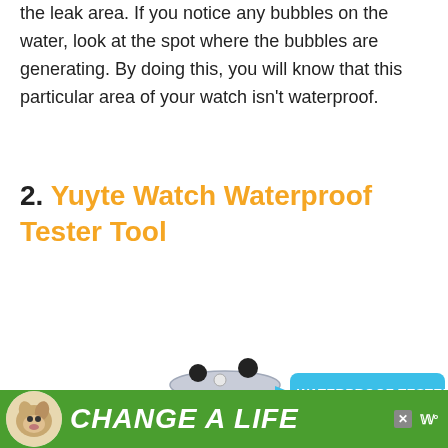the leak area. If you notice any bubbles on the water, look at the spot where the bubbles are generating. By doing this, you will know that this particular area of your watch isn't waterproof.
2. Yuyte Watch Waterproof Tester Tool
[Figure (photo): A Yuyte Watch Waterproof Tester Tool device — a cylindrical transparent chamber with a metallic base, showing bubbles in blue water inside, with a lever arm and black knob on the right. A cyan label reads 'WATERPROOF TESTER'. A watch case is visible at the bottom right.]
CHANGE A LIFE (advertisement banner with dog image)